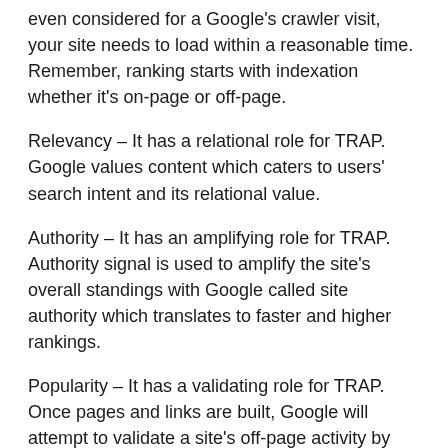even considered for a Google's crawler visit, your site needs to load within a reasonable time. Remember, ranking starts with indexation whether it's on-page or off-page.
Relevancy – It has a relational role for TRAP. Google values content which caters to users' search intent and its relational value.
Authority – It has an amplifying role for TRAP. Authority signal is used to amplify the site's overall standings with Google called site authority which translates to faster and higher rankings.
Popularity – It has a validating role for TRAP. Once pages and links are built, Google will attempt to validate a site's off-page activity by looking at popularity metric which is directly associated with human activity level.